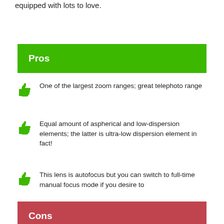equipped with lots to love.
Pros
One of the largest zoom ranges; great telephoto range
Equal amount of aspherical and low-dispersion elements; the latter is ultra-low dispersion element in fact!
This lens is autofocus but you can switch to full-time manual focus mode if you desire to
Cons